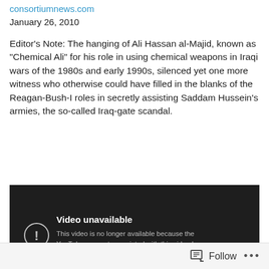consortiumnews.com
January 26, 2010
Editor’s Note: The hanging of Ali Hassan al-Majid, known as “Chemical Ali” for his role in using chemical weapons in Iraqi wars of the 1980s and early 1990s, silenced yet one more witness who otherwise could have filled in the blanks of the Reagan-Bush-I roles in secretly assisting Saddam Hussein’s armies, the so-called Iraq-gate scandal.
[Figure (screenshot): Dark background video player showing 'Video unavailable' message with circle-exclamation icon, text: 'This video is no longer available because the YouTube account associated with this video has been terminated.']
Follow ...